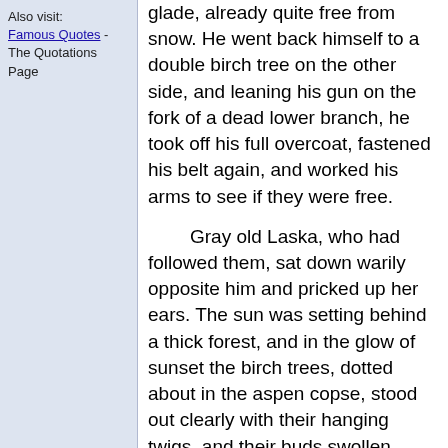Also visit:
Famous Quotes - The Quotations Page
glade, already quite free from snow. He went back himself to a double birch tree on the other side, and leaning his gun on the fork of a dead lower branch, he took off his full overcoat, fastened his belt again, and worked his arms to see if they were free.
Gray old Laska, who had followed them, sat down warily opposite him and pricked up her ears. The sun was setting behind a thick forest, and in the glow of sunset the birch trees, dotted about in the aspen copse, stood out clearly with their hanging twigs, and their buds swollen almost to bursting.
From the thickest parts of the copse, where the snow still remained, came the faint sound of narrow winding threads of water